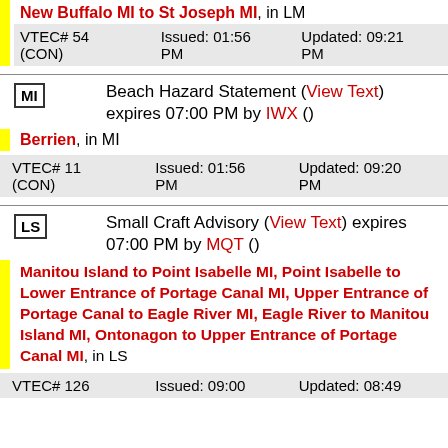New Buffalo MI to St Joseph MI, in LM
| VTEC# | Issued | Updated |
| --- | --- | --- |
| VTEC# 54 (CON) | Issued: 01:56 PM | Updated: 09:21 PM |
Beach Hazard Statement (View Text) expires 07:00 PM by IWX ()
Berrien, in MI
| VTEC# | Issued | Updated |
| --- | --- | --- |
| VTEC# 11 (CON) | Issued: 01:56 PM | Updated: 09:20 PM |
Small Craft Advisory (View Text) expires 07:00 PM by MQT ()
Manitou Island to Point Isabelle MI, Point Isabelle to Lower Entrance of Portage Canal MI, Upper Entrance of Portage Canal to Eagle River MI, Eagle River to Manitou Island MI, Ontonagon to Upper Entrance of Portage Canal MI, in LS
| VTEC# | Issued | Updated |
| --- | --- | --- |
| VTEC# 126 | Issued: 09:00 | Updated: 08:49 |